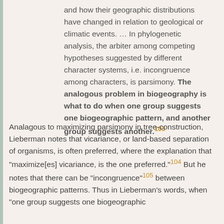and how their geographic distributions have changed in relation to geological or climatic events. … In phylogenetic analysis, the arbiter among competing hypotheses suggested by different character systems, i.e. incongruence among characters, is parsimony. The analogous problem in biogeography is what to do when one group suggests one biogeographic pattern, and another group suggests another.103
Analagous to maximizing parsimony in tree-construction, Lieberman notes that vicariance, or land-based separation of organisms, is often preferred, where the explanation that "maximize[es] vicariance, is the one preferred."104 But he notes that there can be "incongruence"105 between biogeographic patterns. Thus in Lieberman's words, when "one group suggests one biogeographic